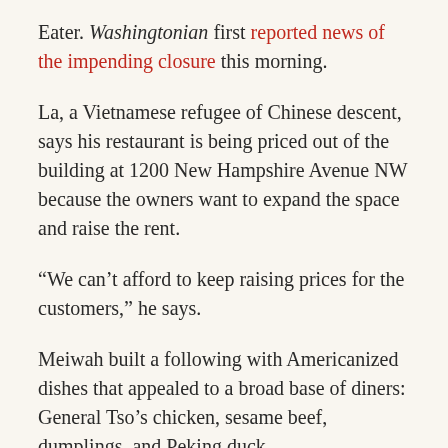Eater. Washingtonian first reported news of the impending closure this morning.
La, a Vietnamese refugee of Chinese descent, says his restaurant is being priced out of the building at 1200 New Hampshire Avenue NW because the owners want to expand the space and raise the rent.
“We can’t afford to keep raising prices for the customers,” he says.
Meiwah built a following with Americanized dishes that appealed to a broad base of diners: General Tso’s chicken, sesame beef, dumplings, and Peking duck.
Exceedingly friendly and a fervent follower of politics, La has befriended talking heads, members of congress, and cabinet members. His customer base grew through word of mouth.